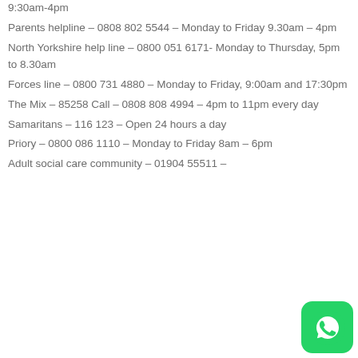9:30am-4pm
Parents helpline – 0808 802 5544 – Monday to Friday 9.30am – 4pm
North Yorkshire help line – 0800 051 6171- Monday to Thursday, 5pm to 8.30am
Forces line – 0800 731 4880 – Monday to Friday, 9:00am and 17:30pm
The Mix – 85258 Call – 0808 808 4994 – 4pm to 11pm every day
Samaritans – 116 123 – Open 24 hours a day
Priory – 0800 086 1110 – Monday to Friday 8am – 6pm
Adult social care community – 01904 55511 –
[Figure (logo): WhatsApp green logo icon in bottom right corner]